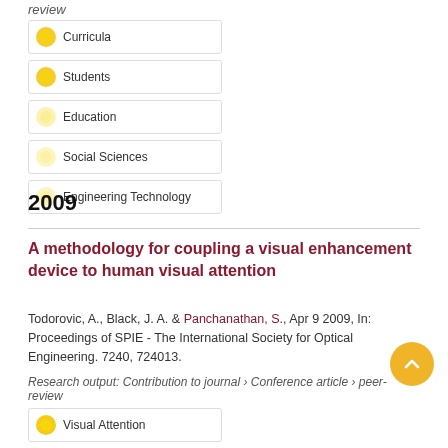review
Curricula
Students
Education
Social Sciences
Engineering Technology
2009
A methodology for coupling a visual enhancement device to human visual attention
Todorovic, A., Black, J. A. & Panchanathan, S., Apr 9 2009, In: Proceedings of SPIE - The International Society for Optical Engineering. 7240, 724013.
Research output: Contribution to journal › Conference article › peer-review
Visual Attention
Enhancement
Vision
Human